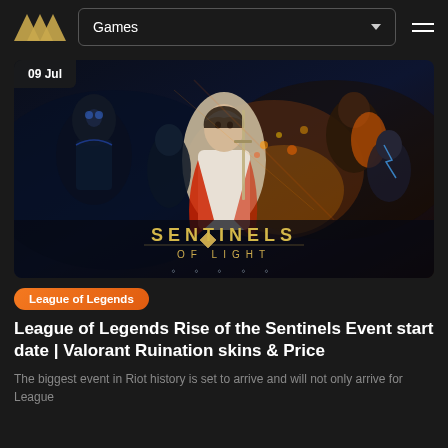Games
[Figure (illustration): Sentinels of Light promotional banner featuring League of Legends and Valorant characters. A female character in white outfit center, dark armored character left, multiple characters right, with orange fire effects and text 'SENTINELS OF LIGHT' at bottom center. Date badge '09 Jul' in upper left.]
League of Legends
League of Legends Rise of the Sentinels Event start date | Valorant Ruination skins & Price
The biggest event in Riot history is set to arrive and will not only arrive for League